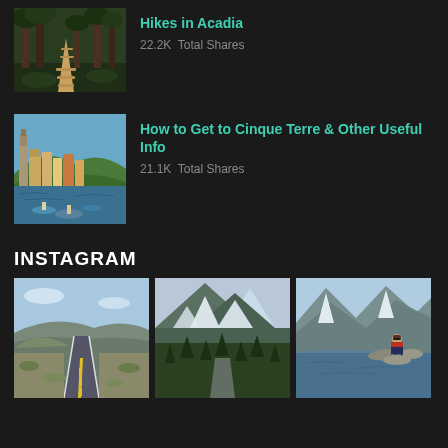[Figure (photo): Forest path with wooden boardwalk winding between tall trees]
Hikes in Acadia
22.2K  Total Shares
[Figure (photo): Colorful coastal village of Cinque Terre with boats in harbor]
How to Get to Cinque Terre & Other Useful Info
21.1K  Total Shares
INSTAGRAM
[Figure (photo): Straight road with yellow center line extending into desert landscape]
[Figure (photo): Snow-capped mountain peaks with pine forest and winding road]
[Figure (photo): Person sitting on rocks by a lake with mountain backdrop]